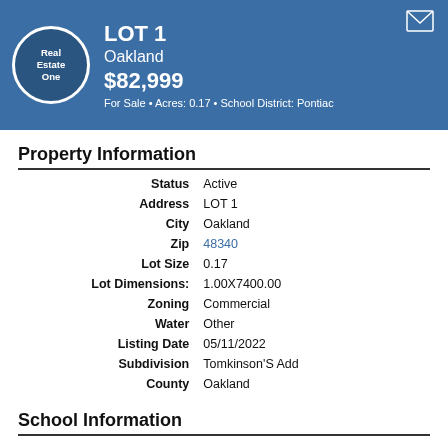LOT 1 | Oakland | $82,999 | For Sale • Acres: 0.17 • School District: Pontiac
Property Information
| Field | Value |
| --- | --- |
| Status | Active |
| Address | LOT 1 |
| City | Oakland |
| Zip | 48340 |
| Lot Size | 0.17 |
| Lot Dimensions: | 1.00X7400.00 |
| Zoning | Commercial |
| Water | Other |
| Listing Date | 05/11/2022 |
| Subdivision | Tomkinson'S Add |
| County | Oakland |
School Information